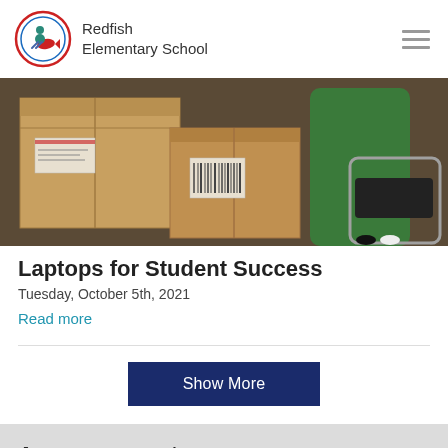Redfish Elementary School
[Figure (photo): Cardboard boxes stacked on school desks/chairs, a child in a green sweater visible in the background]
Laptops for Student Success
Tuesday, October 5th, 2021
Read more
Show More
Announcements